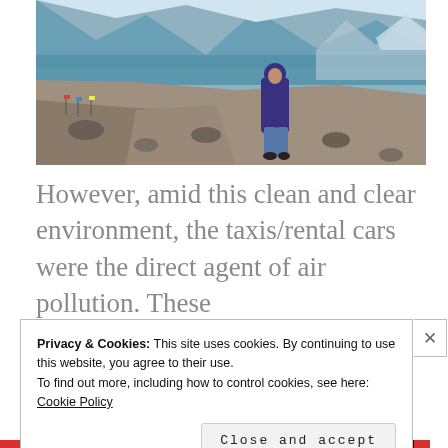[Figure (photo): A person in a purple jacket standing on a rocky shoreline next to a clear turquoise lake, with mountains and snow reflected in the water. Rocky terrain, small prayer flags visible in the distance.]
However, amid this clean and clear environment, the taxis/rental cars were the direct agent of air pollution. These
Privacy & Cookies: This site uses cookies. By continuing to use this website, you agree to their use.
To find out more, including how to control cookies, see here:
Cookie Policy
Close and accept